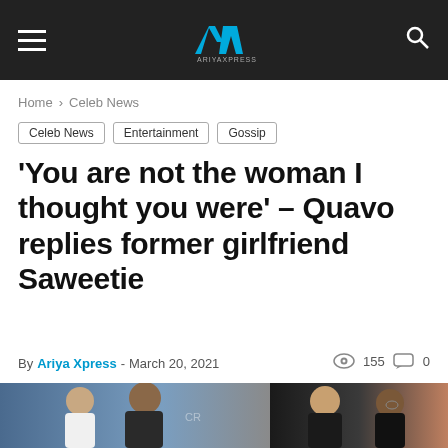AX [logo] — navigation bar with hamburger menu and search icon
Home > Celeb News
Celeb News | Entertainment | Gossip
'You are not the woman I thought you were' – Quavo replies former girlfriend Saweetie
By Ariya Xpress - March 20, 2021  155  0
[Figure (photo): Photo collage of Quavo and Saweetie together at events — two side-by-side images showing the former couple]